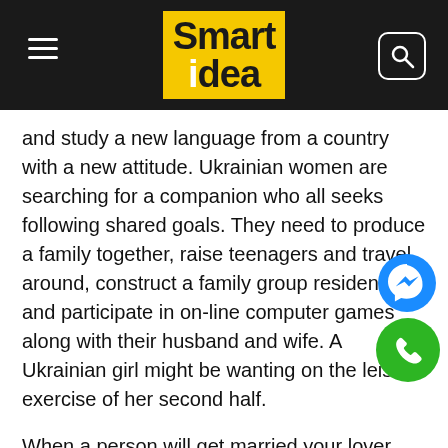Smart idea
and study a new language from a country with a new attitude. Ukrainian women are searching for a companion who all seeks following shared goals. They need to produce a family together, raise teenagers and travel around, construct a family group residence and participate in on-line computer games along with their husband and wife. A Ukrainian girl might be wanting on the leisure exercise of her second half.
When a person will get married your lover thinks that it is man with whom she can have teens. Therefore , it is extremely necessary that a guy has nice emotions for kids and would like to have by least one child with a selected female. In some